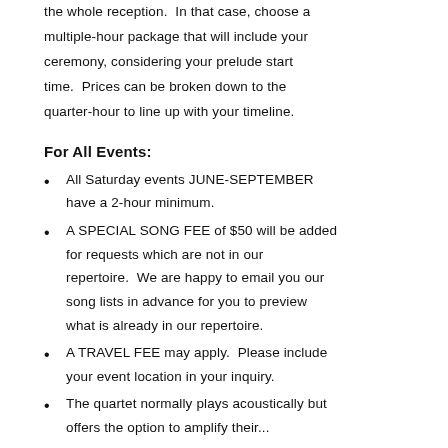the whole reception.  In that case, choose a multiple-hour package that will include your ceremony, considering your prelude start time.  Prices can be broken down to the quarter-hour to line up with your timeline.
For All Events:
All Saturday events JUNE-SEPTEMBER have a 2-hour minimum.
A SPECIAL SONG FEE of $50 will be added for requests which are not in our repertoire.  We are happy to email you our song lists in advance for you to preview what is already in our repertoire.
A TRAVEL FEE may apply.  Please include your event location in your inquiry.
The quartet normally plays acoustically but offers the option to amplify their...